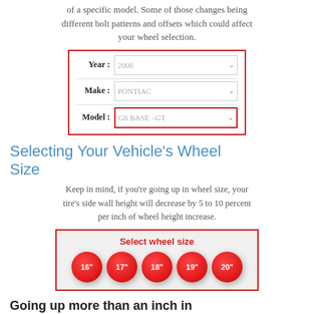of a specific model. Some of those changes being different bolt patterns and offsets which could affect your wheel selection.
[Figure (infographic): Form box with red border showing Year (2006), Make (PONTIAC), and Model (G6 BASE -GT) dropdown selectors, with the Model selector having a red border highlight.]
Selecting Your Vehicle's Wheel Size
Keep in mind, if you're going up in wheel size, your tire's side wall height will decrease by 5 to 10 percent per inch of wheel height increase.
[Figure (infographic): Red-bordered box with gray background showing 'Select wheel size' title in red bold text and five red circular buttons labeled 16", 17", 18", 19", 20".]
Going up more than an inch in wheel size?